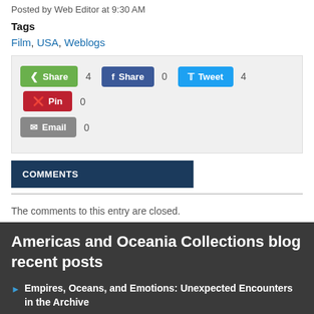Posted by Web Editor at 9:30 AM
Tags
Film, USA, Weblogs
[Figure (other): Social sharing buttons: Share (4), Facebook Share (0), Tweet (4), Pinterest Pin (0), Email (0)]
COMMENTS
The comments to this entry are closed.
Americas and Oceania Collections blog recent posts
Empires, Oceans, and Emotions: Unexpected Encounters in the Archive
In Search of Vanilla